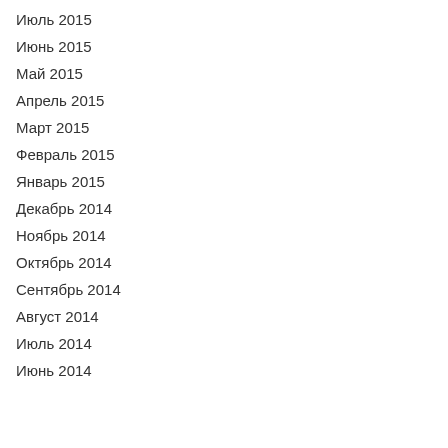Июль 2015
Июнь 2015
Май 2015
Апрель 2015
Март 2015
Февраль 2015
Январь 2015
Декабрь 2014
Ноябрь 2014
Октябрь 2014
Сентябрь 2014
Август 2014
Июль 2014
Июнь 2014